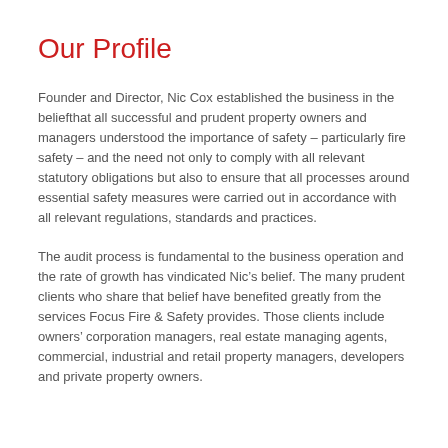Our Profile
Founder and Director, Nic Cox established the business in the belief​that all successful and prudent property owners and managers understood the importance of safety – particularly fire safety – and the need not only to comply with all relevant statutory ​obligations but also to ensure that all processes around essential safety measures were carried out in accordance with all relevant regulations, standards and practices.
The audit process is fundamental to the business operation and the rate of growth has vindicated Nic’s belief. The many prudent ​clients who share that belief have benefited greatly from the services Focus Fire & Safety provides. Those clients include ​owners’ corporation managers, real estate managing agents, commercial, industrial and retail property managers, developers and private property owners.